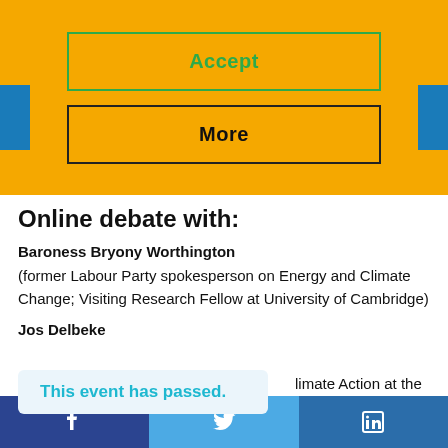[Figure (screenshot): Yellow banner with Accept and More buttons]
Online debate with:
Baroness Bryony Worthington
(former Labour Party spokesperson on Energy and Climate Change; Visiting Research Fellow at University of Cambridge)
Jos Delbeke
This event has passed.
limate Action at the
Facebook | Twitter | LinkedIn